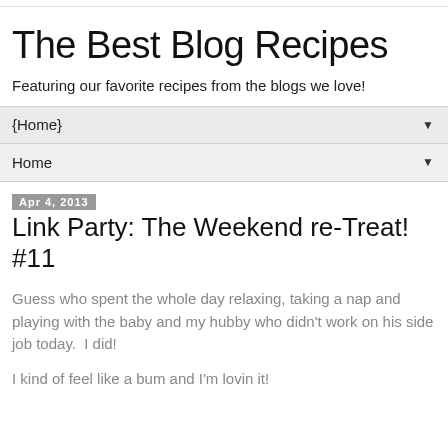The Best Blog Recipes
Featuring our favorite recipes from the blogs we love!
{Home}
Home
Apr 4, 2013
Link Party: The Weekend re-Treat! #11
Guess who spent the whole day relaxing, taking a nap and playing with the baby and my hubby who didn't work on his side job today.  I did!
I kind of feel like a bum and I'm lovin it!